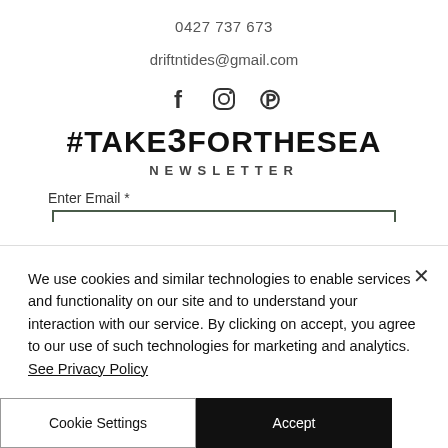0427 737 673
driftntides@gmail.com
[Figure (other): Social media icons: Facebook (f), Instagram (circle camera), Pinterest (P)]
#TAKE3FORTHESEA
NEWSLETTER
Enter Email *
We use cookies and similar technologies to enable services and functionality on our site and to understand your interaction with our service. By clicking on accept, you agree to our use of such technologies for marketing and analytics. See Privacy Policy
Cookie Settings
Accept